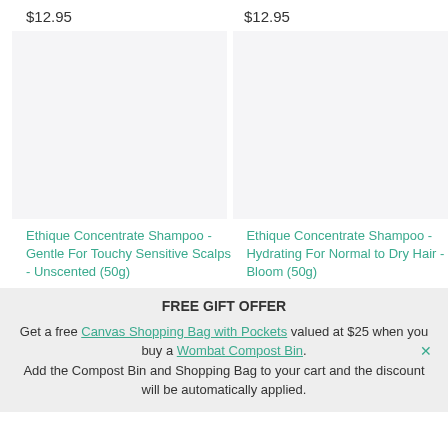$12.95
$12.95
[Figure (photo): Product image placeholder left - light grey rectangle]
[Figure (photo): Product image placeholder right - light grey rectangle]
Ethique Concentrate Shampoo - Gentle For Touchy Sensitive Scalps - Unscented (50g)
Ethique Concentrate Shampoo - Hydrating For Normal to Dry Hair - Bloom (50g)
FREE GIFT OFFER
Get a free Canvas Shopping Bag with Pockets valued at $25 when you buy a Wombat Compost Bin. Add the Compost Bin and Shopping Bag to your cart and the discount will be automatically applied.